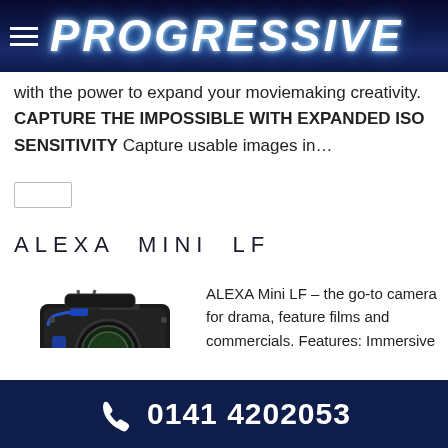PROGRESSIVE
with the power to expand your moviemaking creativity. CAPTURE THE IMPOSSIBLE WITH EXPANDED ISO SENSITIVITY Capture usable images in…
ALEXA MINI LF
[Figure (photo): ARRI ALEXA Mini LF cinema camera body, front view, showing lens mount and blue accents]
ALEXA Mini LF – the go-to camera for drama, feature films and commercials. Features: Immersive large-format look Lower noise with higher usable
0141 4202053